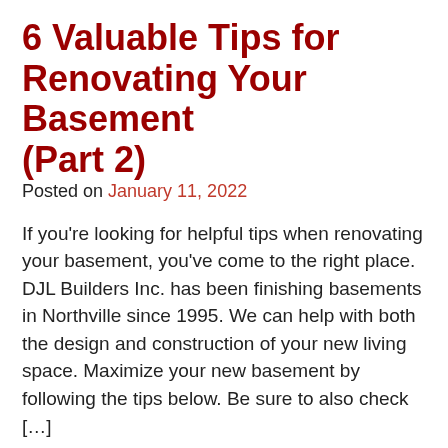6 Valuable Tips for Renovating Your Basement (Part 2)
Posted on January 11, 2022
If you’re looking for helpful tips when renovating your basement, you’ve come to the right place. DJL Builders Inc. has been finishing basements in Northville since 1995. We can help with both the design and construction of your new living space. Maximize your new basement by following the tips below. Be sure to also check […]
READ MORE
TOP ‸